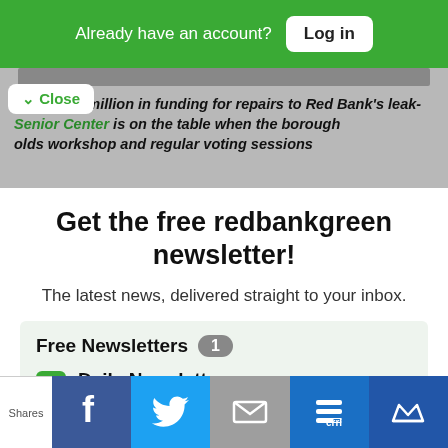Already have an account? Log in
Almost $2 million in funding for repairs to Red Bank's leak- Senior Center is on the table when the borough olds workshop and regular voting sessions
Get the free redbankgreen newsletter!
The latest news, delivered straight to your inbox.
Free Newsletters 1
Daily Newsletter
Latest news and updates
Shares